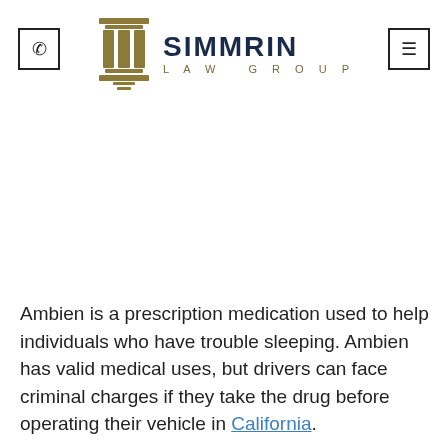Simmrin Law Group — header with phone icon and menu icon
[Figure (logo): Simmrin Law Group logo with pillar/column icon in gold/brown and bold dark navy text reading SIMMRIN LAW GROUP]
Ambien is a prescription medication used to help individuals who have trouble sleeping. Ambien has valid medical uses, but drivers can face criminal charges if they take the drug before operating their vehicle in California.